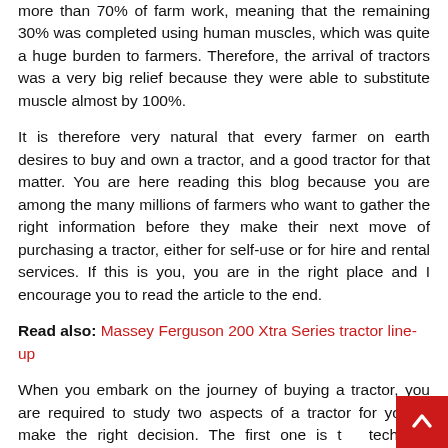more than 70% of farm work, meaning that the remaining 30% was completed using human muscles, which was quite a huge burden to farmers. Therefore, the arrival of tractors was a very big relief because they were able to substitute muscle almost by 100%.
It is therefore very natural that every farmer on earth desires to buy and own a tractor, and a good tractor for that matter. You are here reading this blog because you are among the many millions of farmers who want to gather the right information before they make their next move of purchasing a tractor, either for self-use or for hire and rental services. If this is you, you are in the right place and I encourage you to read the article to the end.
Read also: Massey Ferguson 200 Xtra Series tractor line-up
When you embark on the journey of buying a tractor, you are required to study two aspects of a tractor for you to make the right decision. The first one is the technical configurations of the machine, and the second one is the non-technical considerations.